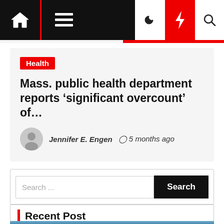Navigation bar with home, menu, dark mode, breaking news, and search icons
Health
Mass. public health department reports ‘significant overcount’ of…
Jennifer E. Engen  ⏰ 5 months ago
Search ...
Recent Post